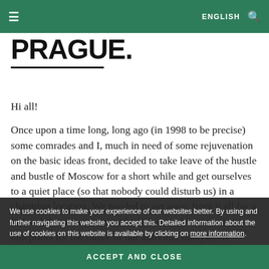≡  ENGLISH 🔍
PRAGUE.
Hi all!
Once upon a time long, long ago (in 1998 to be precise) some comrades and I, much in need of some rejuvenation on the basic ideas front, decided to take leave of the hustle and bustle of Moscow for a short while and get ourselves to a quiet place (so that nobody could disturb us) in a charming location. We needed to get away from it all for a little while so that we could sit down and hammer out blueprints for the future of our antivirus subsystems effectively interact with one
We use cookies to make your experience of our websites better. By using and further navigating this website you accept this. Detailed information about the use of cookies on this website is available by clicking on more information.
ACCEPT AND CLOSE